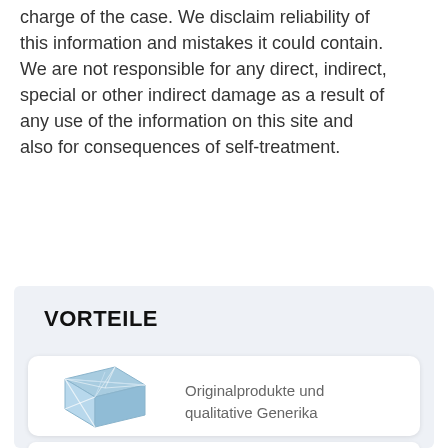charge of the case. We disclaim reliability of this information and mistakes it could contain. We are not responsible for any direct, indirect, special or other indirect damage as a result of any use of the information on this site and also for consequences of self-treatment.
VORTEILE
[Figure (illustration): A blue 3D box/package icon with envelope-like diamond fold lines on the front face]
Originalprodukte und qualitative Generika